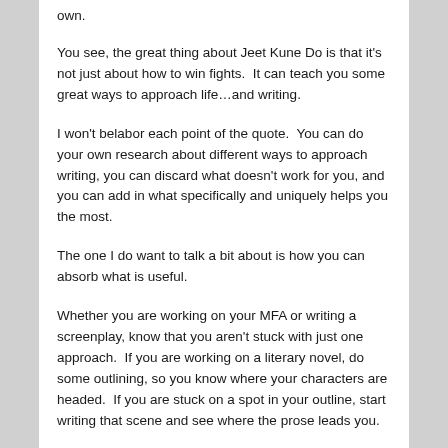own.
You see, the great thing about Jeet Kune Do is that it's not just about how to win fights.  It can teach you some great ways to approach life…and writing.
I won't belabor each point of the quote.  You can do your own research about different ways to approach writing, you can discard what doesn't work for you, and you can add in what specifically and uniquely helps you the most.
The one I do want to talk a bit about is how you can absorb what is useful.
Whether you are working on your MFA or writing a screenplay, know that you aren't stuck with just one approach.  If you are working on a literary novel, do some outlining, so you know where your characters are headed.  If you are stuck on a spot in your outline, start writing that scene and see where the prose leads you.
Jeet Kune Do stresses the individual over any particular